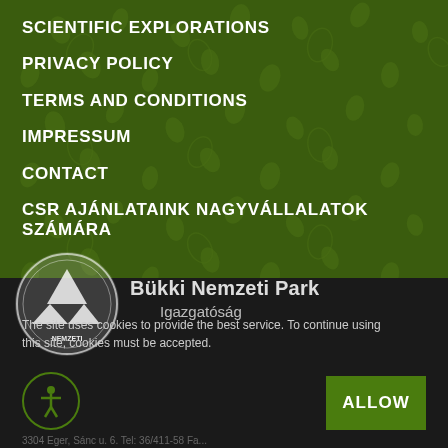SCIENTIFIC EXPLORATIONS
PRIVACY POLICY
TERMS AND CONDITIONS
IMPRESSUM
CONTACT
CSR AJÁNLATAINK NAGYVÁLLALATOK SZÁMÁRA
[Figure (logo): Bükki Nemzeti Park Igazgatóság circular logo in white on dark background]
Bükki Nemzeti Park
Igazgatóság
The site uses cookies to provide the best service. To continue using this site, cookies must be accepted.
ALLOW
3304 Eger, Sánc u. 6. Tel: 36/411-58 Fa...